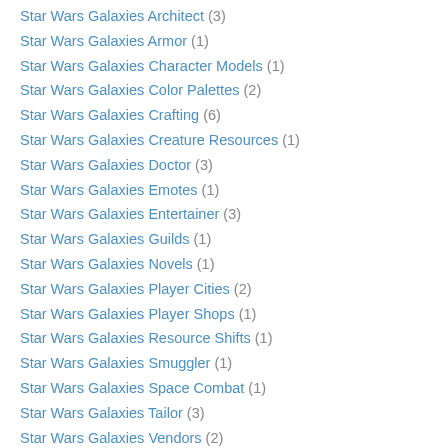Star Wars Galaxies Architect (3)
Star Wars Galaxies Armor (1)
Star Wars Galaxies Character Models (1)
Star Wars Galaxies Color Palettes (2)
Star Wars Galaxies Crafting (6)
Star Wars Galaxies Creature Resources (1)
Star Wars Galaxies Doctor (3)
Star Wars Galaxies Emotes (1)
Star Wars Galaxies Entertainer (3)
Star Wars Galaxies Guilds (1)
Star Wars Galaxies Novels (1)
Star Wars Galaxies Player Cities (2)
Star Wars Galaxies Player Shops (1)
Star Wars Galaxies Resource Shifts (1)
Star Wars Galaxies Smuggler (1)
Star Wars Galaxies Space Combat (1)
Star Wars Galaxies Tailor (3)
Star Wars Galaxies Vendors (2)
Star Wars Galaxies Wookiee Life Day (1)
Star Wars the Old Republic (1)